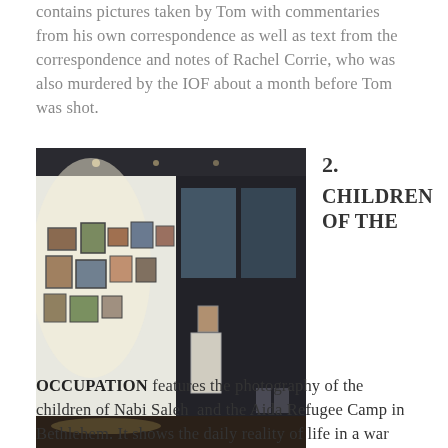contains pictures taken by Tom with commentaries from his own correspondence as well as text from the correspondence and notes of Rachel Corrie, who was also murdered by the IOF about a month before Tom was shot.
[Figure (photo): Interior of an art gallery or exhibition hall with photographs hung on white walls; dim lighting with spotlights, and large windows visible in the background.]
2. CHILDREN OF THE
OCCUPATION features the photography of the children of Nabi Saleh and the Aida Refugee Camp in Bethlehem. It shows the daily reality of life in a war zone where children play among the teargas cases and live